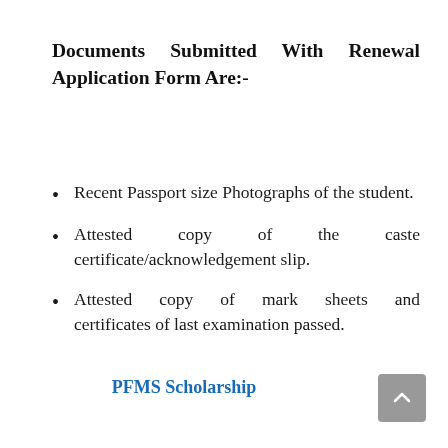Documents Submitted With Renewal Application Form Are:-
Recent Passport size Photographs of the student.
Attested copy of the caste certificate/acknowledgement slip.
Attested copy of mark sheets and certificates of last examination passed.
PFMS Scholarship